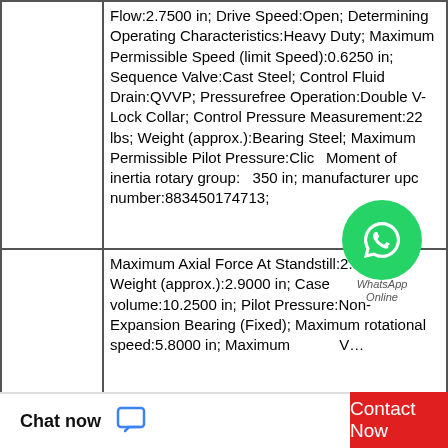|  | Flow:2.7500 in; Drive Speed:Open; Determining Operating Characteristics:Heavy Duty; Maximum Permissible Speed (limit Speed):0.6250 in; Sequence Valve:Cast Steel; Control Fluid Drain:QVVP; Pressurefree Operation:Double V-Lock Collar; Control Pressure Measurement:22 lbs; Weight (approx.):Bearing Steel; Maximum Permissible Pilot Pressure:Click; Moment of inertia rotary group:7.7350 in; manufacturer upc number:883450174713; |
|  | Maximum Axial Force At Standstill:2.5000 in; Weight (approx.):2.9000 in; Case volume:10.2500 in; Pilot Pressure:Non-Expansion Bearing (Fixed); Maximum rotational speed:5.8000 in; Maximum Valve Flow Range:Cast Torque T... |
Chat now
Contact Now